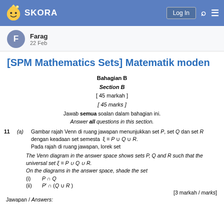SKORA — Log In
Farag
22 Feb
[SPM Mathematics Sets] Matematik moden
Bahagian B
Section B
[ 45 markah ]
[ 45 marks ]
Jawab semua soalan dalam bahagian ini.
Answer all questions in this section.
11  (a)  Gambar rajah Venn di ruang jawapan menunjukkan set P, set Q dan set R dengan keadaan set semesta ξ = P ∪ Q ∪ R.
Pada rajah di ruang jawapan, lorek set

The Venn diagram in the answer space shows sets P, Q and R such that the universal set ξ = P ∪ Q ∪ R.
On the diagrams in the answer space, shade the set
(i)   P ∩ Q
(ii)  P' ∩ (Q ∪ R)
[3 markah / marks]
Jawapan / Answers: